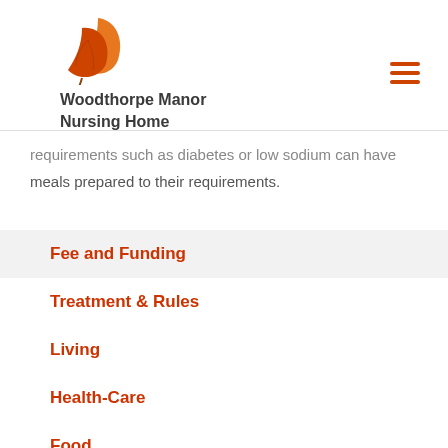Woodthorpe Manor Nursing Home
requirements such as diabetes or low sodium can have meals prepared to their requirements.
Fee and Funding
Treatment & Rules
Living
Health-Care
Food